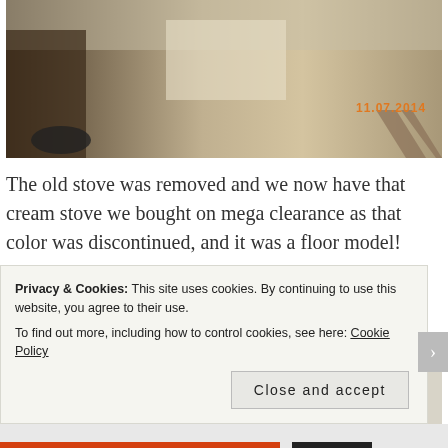[Figure (photo): Interior construction photo showing bare subfloor, tools, and construction materials. Date stamp '11.07.2014' in orange text lower right.]
The old stove was removed and we now have that cream stove we bought on mega clearance as that color was discontinued, and it was a floor model!
[Figure (photo): Interior construction photo showing white walls and a person working.]
Privacy & Cookies: This site uses cookies. By continuing to use this website, you agree to their use.
To find out more, including how to control cookies, see here: Cookie Policy
Close and accept